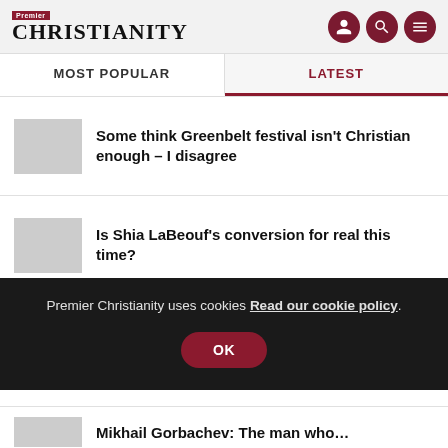Premier Christianity
MOST POPULAR
LATEST
Some think Greenbelt festival isn't Christian enough – I disagree
Is Shia LaBeouf's conversion for real this time?
Premier Christianity uses cookies Read our cookie policy. OK
Mikhail Gorbachev: The man who…